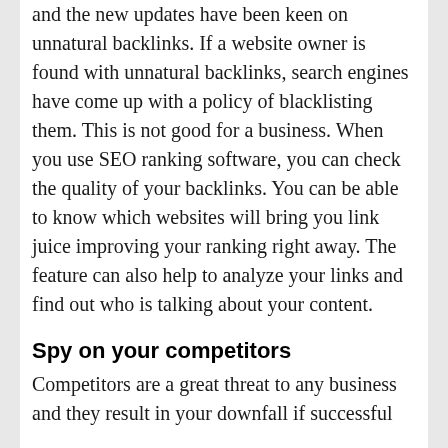and the new updates have been keen on unnatural backlinks. If a website owner is found with unnatural backlinks, search engines have come up with a policy of blacklisting them. This is not good for a business. When you use SEO ranking software, you can check the quality of your backlinks. You can be able to know which websites will bring you link juice improving your ranking right away. The feature can also help to analyze your links and find out who is talking about your content.
Spy on your competitors
Competitors are a great threat to any business and they result in your downfall if successful